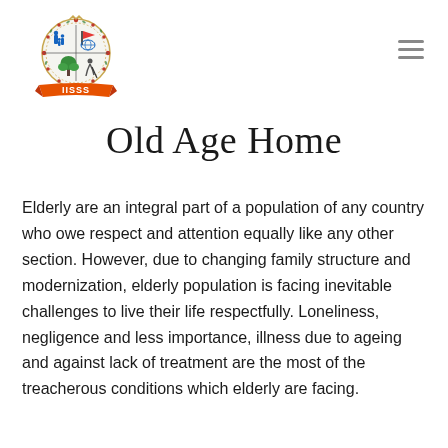[Figure (logo): IISSS organization circular logo with figures of people, plants, and decorative floral border, with an orange ribbon banner at the bottom reading IISSS]
Old Age Home
Elderly are an integral part of a population of any country who owe respect and attention equally like any other section. However, due to changing family structure and modernization, elderly population is facing inevitable challenges to live their life respectfully. Loneliness, negligence and less importance, illness due to ageing and against lack of treatment are the most of the treacherous conditions which elderly are facing.